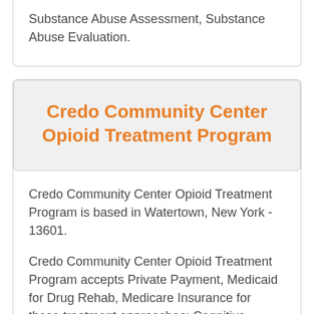Substance Abuse Assessment, Substance Abuse Evaluation.
Credo Community Center Opioid Treatment Program
Credo Community Center Opioid Treatment Program is based in Watertown, New York - 13601.
Credo Community Center Opioid Treatment Program accepts Private Payment, Medicaid for Drug Rehab, Medicare Insurance for these treatment approaches: Cognitive